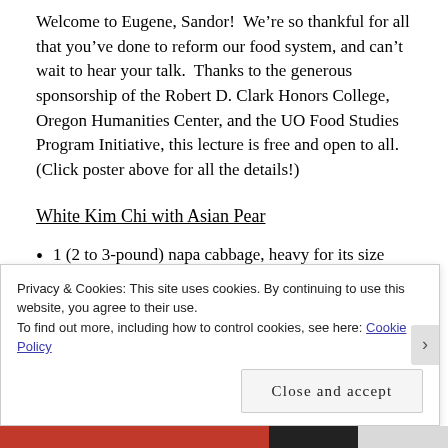Welcome to Eugene, Sandor!  We’re so thankful for all that you’ve done to reform our food system, and can’t wait to hear your talk.  Thanks to the generous sponsorship of the Robert D. Clark Honors College, Oregon Humanities Center, and the UO Food Studies Program Initiative, this lecture is free and open to all. (Click poster above for all the details!)
White Kim Chi with Asian Pear
1 (2 to 3-pound) napa cabbage, heavy for its size and
Privacy & Cookies: This site uses cookies. By continuing to use this website, you agree to their use.
To find out more, including how to control cookies, see here: Cookie Policy
Close and accept